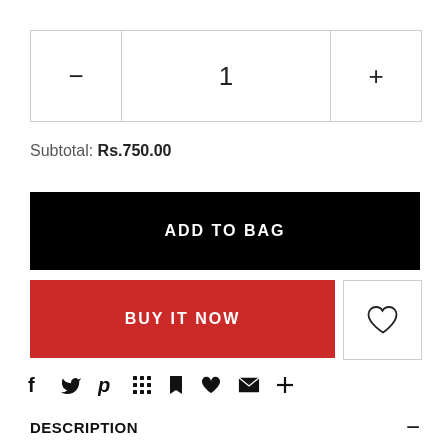| - | 1 | + |
| --- | --- | --- |
| - | 1 | + |
Subtotal: Rs.750.00
ADD TO BAG
BUY IT NOW
[Figure (other): Heart/wishlist icon button]
[Figure (other): Social sharing icons row: f (Facebook), Twitter bird, Pinterest P, grid dots, bookmark/pin, heart outline, envelope/email, plus sign]
DESCRIPTION